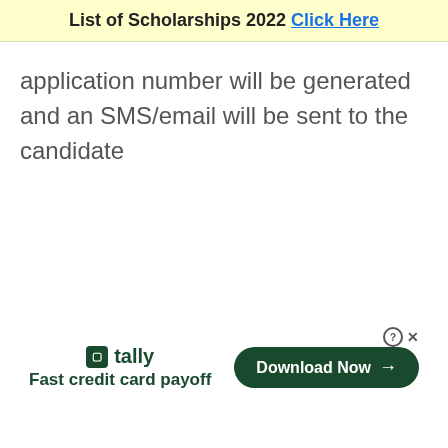List of Scholarships 2022 Click Here
application number will be generated and an SMS/email will be sent to the candidate
[Figure (other): Tally advertisement banner with logo, tagline 'Fast credit card payoff', and a 'Download Now' button]